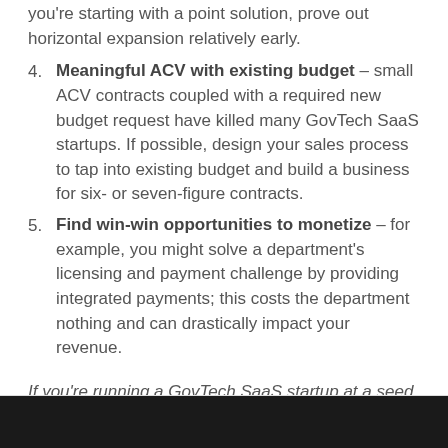you're starting with a point solution, prove out horizontal expansion relatively early.
4. Meaningful ACV with existing budget – small ACV contracts coupled with a required new budget request have killed many GovTech SaaS startups. If possible, design your sales process to tap into existing budget and build a business for six- or seven-figure contracts.
5. Find win-win opportunities to monetize – for example, you might solve a department's licensing and payment challenge by providing integrated payments; this costs the department nothing and can drastically impact your revenue.
If you're running a GovTech SaaS startup at a seed or series A stage, I'd love to chat: you can reach me at uri@jsv.com.